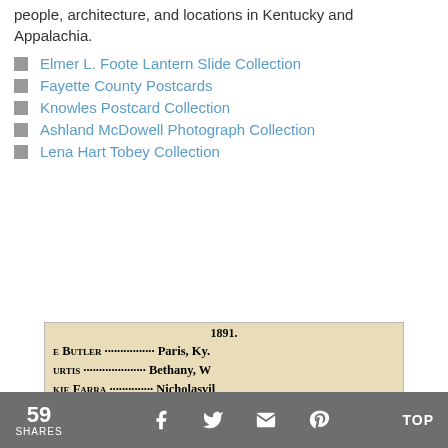people, architecture, and locations in Kentucky and Appalachia.
Elmer L. Foote Lantern Slide Collection
Fayette County Postcards
Knowles Postcard Collection
Ashland McDowell Photograph Collection
Lena Hart Tobey Collection
[Figure (photo): Scanned historical document page from 1891 showing a list of names with locations including Butler (Paris, Ky.), Curtis (Bethany, W.), Farra (Nicholasville), Field (Versailles), Fisher (Lexington), Fox (Richmond), Gano (Dallas, Tex.), Givens (Danville, K.), Graham (Lexington), Gribbin (Hampstead)]
59 SHARES  TOP